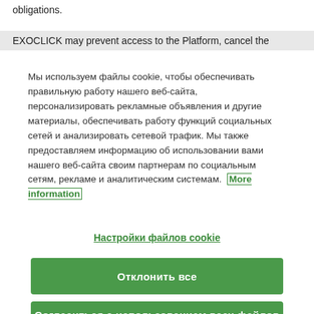obligations.
EXOCLICK may prevent access to the Platform, cancel the
Мы используем файлы cookie, чтобы обеспечивать правильную работу нашего веб-сайта, персонализировать рекламные объявления и другие материалы, обеспечивать работу функций социальных сетей и анализировать сетевой трафик. Мы также предоставляем информацию об использовании вами нашего веб-сайта своим партнерам по социальным сетям, рекламе и аналитическим системам. More information
Настройки файлов cookie
Отклонить все
Согласиться с использованием всех файлов cookie